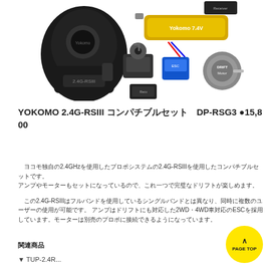[Figure (photo): RC car components including a 2.4G-RSIII transmitter/controller (black), servo, receiver, ESC (blue), motor, and a yellow LiPo battery pack arranged on white background]
YOKOMO 2.4G-RSIII コンパチブルセット DP-RSG3 ●15,800
ヨコモ独自の2.4GHz帯を使用したプロポシステムの2.4G-RSIIIを使用したコンパチブルセットです。アンプやモーターもセットになっているので、これ一つで完璧なドリフトが楽しめます。
この2.4G-RSIIIはフルバンドを使用しているシングルバンドとは異なり、同時に複数のユーザーの使用が可能です。 アンプはドリフトにも対応した2WD・4WD車対応のESCを採用しています。モーターは別売のプロポに接続できるようになっています。
関連商品
▼ TUP-2.4R...